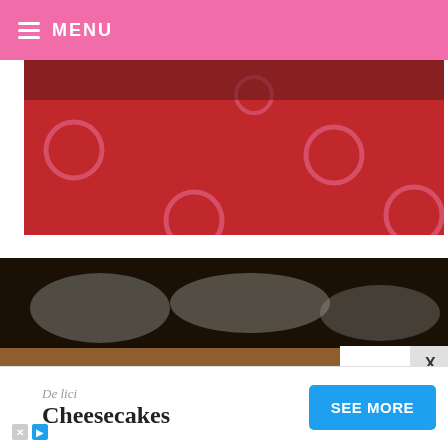MENU
[Figure (photo): Red background with pink polka dots, partial view of hand or object in upper area]
[Figure (photo): Blurry close-up of cupcake/muffin tins/liners on a dark surface, one silver foil cupcake liner prominently in lower left, a cupcake visible at lower right; white advertisement overlay partially covers the image]
[Figure (other): Advertisement banner: Delici Cheesecakes with SEE MORE button in blue, small X and play icons at bottom left]